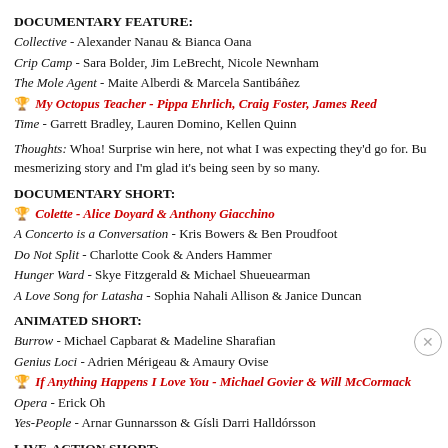DOCUMENTARY FEATURE:
Collective - Alexander Nanau & Bianca Oana
Crip Camp - Sara Bolder, Jim LeBrecht, Nicole Newnham
The Mole Agent - Maite Alberdi & Marcela Santibáñez
🏆 My Octopus Teacher - Pippa Ehrlich, Craig Foster, James Reed [WINNER]
Time - Garrett Bradley, Lauren Domino, Kellen Quinn
Thoughts: Whoa! Surprise win here, not what I was expecting they'd go for. Bu mesmerizing story and I'm glad it's being seen by so many.
DOCUMENTARY SHORT:
🏆 Colette - Alice Doyard & Anthony Giacchino [WINNER]
A Concerto is a Conversation - Kris Bowers & Ben Proudfoot
Do Not Split - Charlotte Cook & Anders Hammer
Hunger Ward - Skye Fitzgerald & Michael Shueuearman
A Love Song for Latasha - Sophia Nahali Allison & Janice Duncan
ANIMATED SHORT:
Burrow - Michael Capbarat & Madeline Sharafian
Genius Loci - Adrien Mérigeau & Amaury Ovise
🏆 If Anything Happens I Love You - Michael Govier & Will McCormack [WINNER]
Opera - Erick Oh
Yes-People - Arnar Gunnarsson & Gísli Darri Halldórsson
LIVE-ACTION SHORT:
Feeling Through - Doug Roland & Susan Ruzenski
The Letter Room - Elvira Lind & Sofia Sondervan